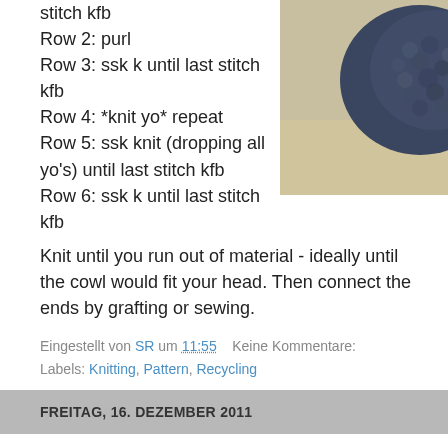stitch kfb
Row 2: purl
Row 3: ssk k until last stitch kfb
Row 4: *knit yo* repeat
Row 5: ssk knit (dropping all yo's) until last stitch kfb
Row 6: ssk k until last stitch kfb
[Figure (photo): Close-up photo of dark navy/charcoal chunky knitted cowl on a light wooden surface]
Knit until you run out of material - ideally until the cowl would fit your head. Then connect the ends by grafting or sewing.
Eingestellt von SR um 11:55   Keine Kommentare:
Labels: Knitting, Pattern, Recycling
FREITAG, 16. DEZEMBER 2011
Bamboo & Ruffles Wrist Warmers
These stretchy wrist warmers are knitted in the round and very